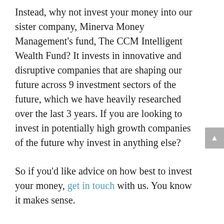Instead, why not invest your money into our sister company, Minerva Money Management's fund, The CCM Intelligent Wealth Fund? It invests in innovative and disruptive companies that are shaping our future across 9 investment sectors of the future, which we have heavily researched over the last 3 years. If you are looking to invest in potentially high growth companies of the future why invest in anything else?
So if you'd like advice on how best to invest your money, get in touch with us. You know it makes sense.